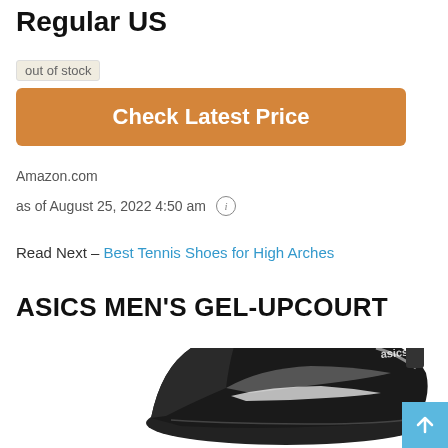Regular US
out of stock
Check Latest Price
Amazon.com
as of August 25, 2022 4:50 am ℹ
Read Next – Best Tennis Shoes for High Arches
ASICS MEN'S GEL-UPCOURT
[Figure (photo): Black ASICS Men's Gel-Upcourt tennis shoe, viewed from the side, partially cropped at bottom of page]